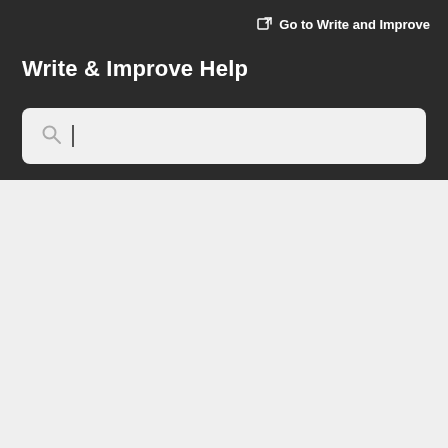Go to Write and Improve
Write & Improve Help
[Figure (screenshot): Search input box with magnifying glass icon and blinking cursor on a light grey background]
[Figure (screenshot): Content area with two right-pointing chevron arrows on a light grey background, and a white card panel at the bottom]